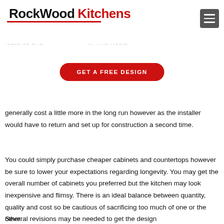RockWood Kitchens
[Figure (other): GET A FREE DESIGN button/CTA banner in red with rounded corners]
generally cost a little more in the long run however as the installer would have to return and set up for construction a second time.
You could simply purchase cheaper cabinets and countertops however be sure to lower your expectations regarding longevity. You may get the overall number of cabinets you preferred but the kitchen may look inexpensive and flimsy. There is an ideal balance between quantity, quality and cost so be cautious of sacrificing too much of one or the other.
Several revisions may be needed to get the design and the best dimensions so as not to overspend and